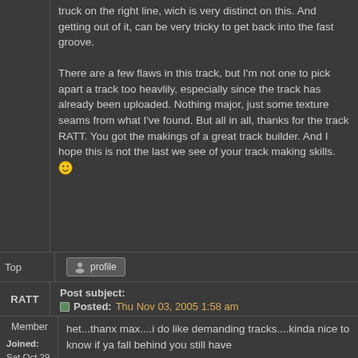truck on the right line, wich is very distinct on this. And getting out of it, can be very tricky to get back into the fast groove.

There are a few flaws in this track, but I'm not one to pick apart a track too heavlily, especially since the track has already been uploaded. Nothing major, just some texture seams from what I've found. But all in all, thanks for the track RATT. You got the makings of a great track builder. And I hope this is not the last we see of your track making skills. 😀
Top
profile
RATT
Post subject:
Posted: Thu Nov 03, 2005 1:58 am
Member
Joined: Sat Oct 29, 2005 3:35 pm
Posts: 3
het...thanx max....i do like demanding tracks....kinda nice to know if ya fall behind you still have